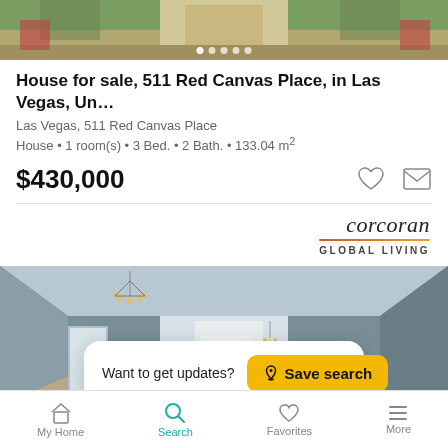[Figure (photo): Top exterior photo of house with driveway and landscaping, partially visible]
House for sale, 511 Red Canvas Place, in Las Vegas, Un…
Las Vegas, 511 Red Canvas Place
House • 1 room(s) • 3 Bed. • 2 Bath. • 133.04 m²
$430,000
[Figure (logo): Corcoran Global Living logo with italic script text and gradient underline]
[Figure (photo): Interior photo of empty house with chandelier lighting and wood-look flooring]
Want to get updates? Save search
My Home  Search  Favorites  More